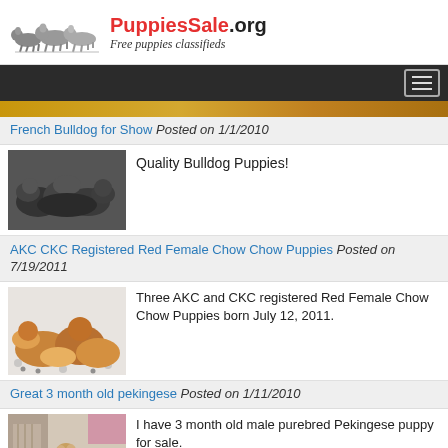PuppiesSale.org Free puppies classifieds
[Figure (screenshot): Partial advertisement strip at top of listing, cropped]
French Bulldog for Show Posted on 1/1/2010
[Figure (photo): Black and white photo of French Bulldog puppies piled together]
Quality Bulldog Puppies!
AKC CKC Registered Red Female Chow Chow Puppies Posted on 7/19/2011
[Figure (photo): Photo of red/golden Chow Chow puppies on white background with paw print fabric]
Three AKC and CKC registered Red Female Chow Chow Puppies born July 12, 2011.
Great 3 month old pekingese Posted on 1/11/2010
[Figure (photo): Photo of a Pekingese puppy indoors]
I have 3 month old male purebred Pekingese puppy for sale.